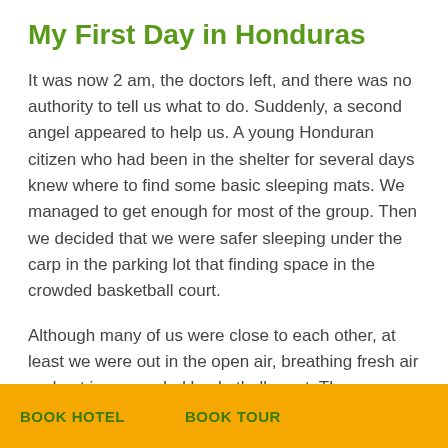My First Day in Honduras
It was now 2 am, the doctors left, and there was no authority to tell us what to do. Suddenly, a second angel appeared to help us. A young Honduran citizen who had been in the shelter for several days knew where to find some basic sleeping mats. We managed to get enough for most of the group. Then we decided that we were safer sleeping under the carp in the parking lot that finding space in the crowded basketball court.
Although many of us were close to each other, at least we were out in the open air, breathing fresh air and not in a crowded basketball court. The downside was the it was pretty darn cold out in the open! I lament not knowing who this second angel was. I wish that I had his name and could contact him to thank him for his kindness that long night.
The night was endless. We were cold, vulnerable, with no one to refer to. Many set up their bags and suitcases around their [obscured] m the elements. I managed to put in [obscured] woke up at 3:30 am. My son was walking around the facility, and I went to chat with him for a
BOOK HOTEL   BOOK TOUR